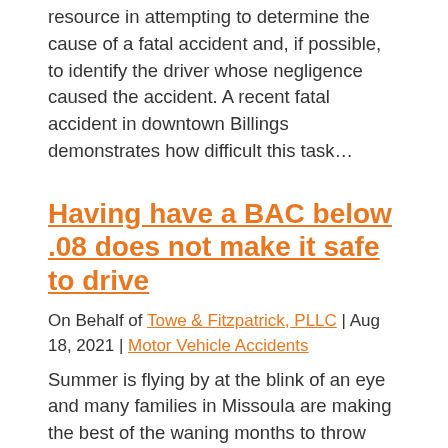resource in attempting to determine the cause of a fatal accident and, if possible, to identify the driver whose negligence caused the accident. A recent fatal accident in downtown Billings demonstrates how difficult this task…
Having have a BAC below .08 does not make it safe to drive
On Behalf of Towe & Fitzpatrick, PLLC | Aug 18, 2021 | Motor Vehicle Accidents
Summer is flying by at the blink of an eye and many families in Missoula are making the best of the waning months to throw barbecues